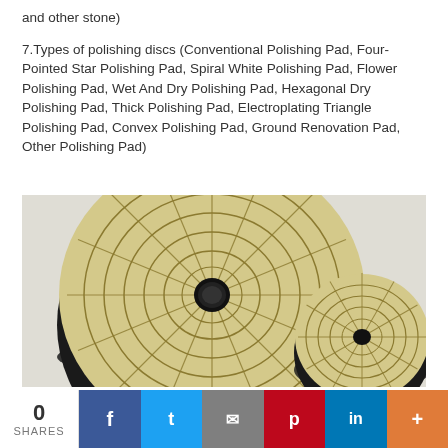and other stone)
7.Types of polishing discs (Conventional Polishing Pad, Four-Pointed Star Polishing Pad, Spiral White Polishing Pad, Flower Polishing Pad, Wet And Dry Polishing Pad, Hexagonal Dry Polishing Pad, Thick Polishing Pad, Electroplating Triangle Polishing Pad, Convex Polishing Pad, Ground Renovation Pad, Other Polishing Pad)
[Figure (photo): Two circular diamond polishing pads with a cream/beige segmented surface pattern and black base, one large and one smaller, shown on a light background.]
0 SHARES | f | t | mail | p | in | +